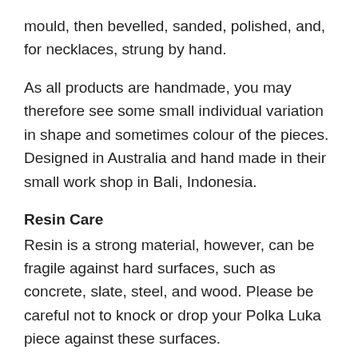mould, then bevelled, sanded, polished, and, for necklaces, strung by hand.
As all products are handmade, you may therefore see some small individual variation in shape and sometimes colour of the pieces. Designed in Australia and hand made in their small work shop in Bali, Indonesia.
Resin Care
Resin is a strong material, however, can be fragile against hard surfaces, such as concrete, slate, steel, and wood. Please be careful not to knock or drop your Polka Luka piece against these surfaces.
Resin can sometimes appear dry on the surface- you can restore/maintain sheen on a longer term basis by